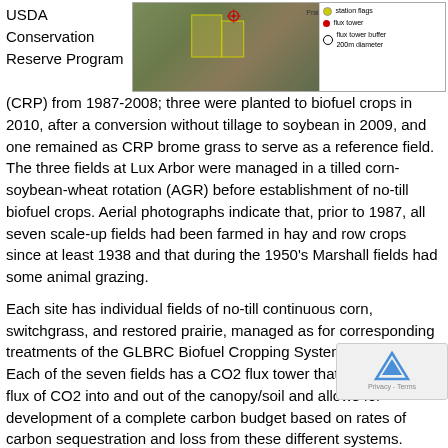[Figure (map): Aerial/satellite map showing fields with a flux tower marker (red dot with crosshair), yellow field outlines, and a legend showing station flags, flux tower, and flux tower buffer 200m diameter. 'Prairie' label visible.]
USDA Conservation Reserve Program (CRP) from 1987-2008; three were planted to biofuel crops in 2010, after a conversion without tillage to soybean in 2009, and one remained as CRP brome grass to serve as a reference field. The three fields at Lux Arbor were managed in a tilled corn-soybean-wheat rotation (AGR) before establishment of no-till biofuel crops. Aerial photographs indicate that, prior to 1987, all seven scale-up fields had been farmed in hay and row crops since at least 1938 and that during the 1950's Marshall fields had some animal grazing.
Each site has individual fields of no-till continuous corn, switchgrass, and restored prairie, managed as for corresponding treatments of the GLBRC Biofuel Cropping System Experiment. Each of the seven fields has a CO2 flux tower that measures the flux of CO2 into and out of the canopy/soil and allows for development of a complete carbon budget based on rates of carbon sequestration and loss from these different systems.
Tilled microplots, established in 2009 and 2010 in crop fields at Marshall Farm site, examine the greenhouse gas costs of tillage conversion of CRP grassland to biofuel cropping systems. The microplots were chisel plowed prior to the conversion of grassland to